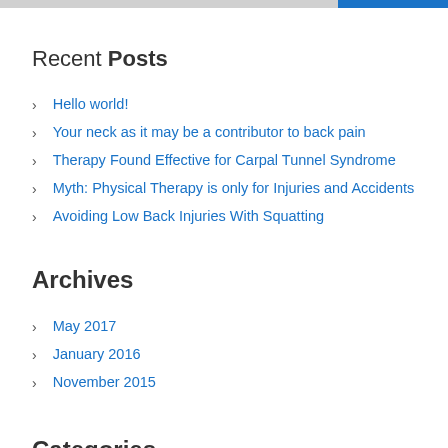Recent Posts
Hello world!
Your neck as it may be a contributor to back pain
Therapy Found Effective for Carpal Tunnel Syndrome
Myth: Physical Therapy is only for Injuries and Accidents
Avoiding Low Back Injuries With Squatting
Archives
May 2017
January 2016
November 2015
Categories